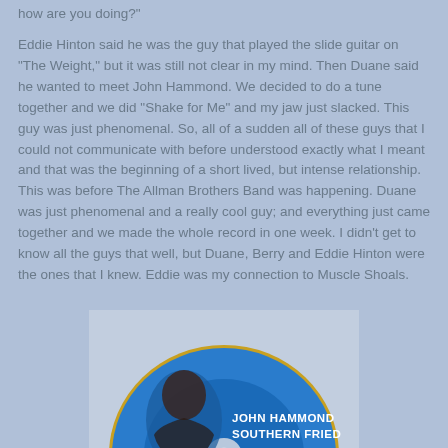how are you doing?"
Eddie Hinton said he was the guy that played the slide guitar on "The Weight," but it was still not clear in my mind. Then Duane said he wanted to meet John Hammond. We decided to do a tune together and we did "Shake for Me" and my jaw just slacked. This guy was just phenomenal. So, all of a sudden all of these guys that I could not communicate with before understood exactly what I meant and that was the beginning of a short lived, but intense relationship. This was before The Allman Brothers Band was happening. Duane was just phenomenal and a really cool guy; and everything just came together and we made the whole record in one week. I didn't get to know all the guys that well, but Duane, Berry and Eddie Hinton were the ones that I knew. Eddie was my connection to Muscle Shoals.
[Figure (photo): A CD album cover for John Hammond Southern Fried, showing a blue disc with a photo of John Hammond and text reading JOHN HAMMOND SOUTHERN FRIED]